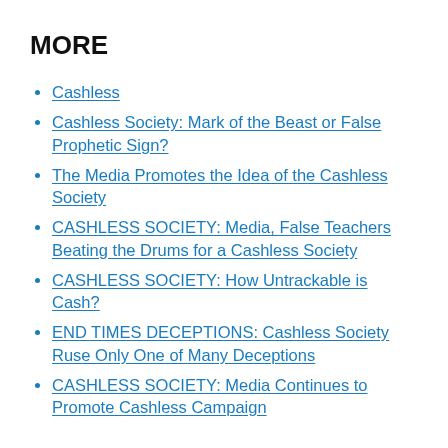MORE
Cashless
Cashless Society: Mark of the Beast or False Prophetic Sign?
The Media Promotes the Idea of the Cashless Society
CASHLESS SOCIETY: Media, False Teachers Beating the Drums for a Cashless Society
CASHLESS SOCIETY: How Untrackable is Cash?
END TIMES DECEPTIONS: Cashless Society Ruse Only One of Many Deceptions
CASHLESS SOCIETY: Media Continues to Promote Cashless Campaign